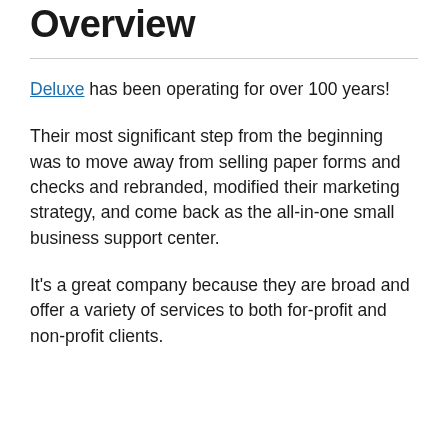Overview
Deluxe has been operating for over 100 years!
Their most significant step from the beginning was to move away from selling paper forms and checks and rebranded, modified their marketing strategy, and come back as the all-in-one small business support center.
It's a great company because they are broad and offer a variety of services to both for-profit and non-profit clients.